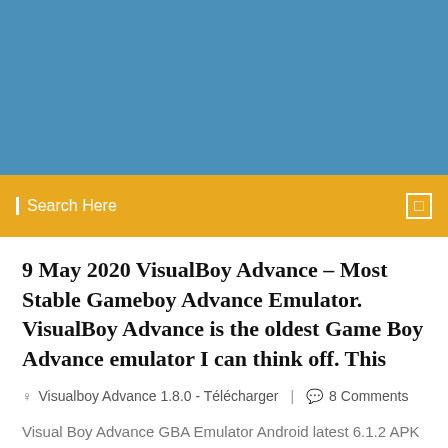[Figure (other): Blue banner header area at the top of the page]
Search Here
9 May 2020 VisualBoy Advance – Most Stable Gameboy Advance Emulator. VisualBoy Advance is the oldest Game Boy Advance emulator I can think off. This
Visualboy Advance 1.8.0 - Télécharger  |   8 Comments
Visual Boy Advance GBA Emulator Android latest 6.1.2 APK Download and Install. Visual Boy Advance GBA Emulator. play